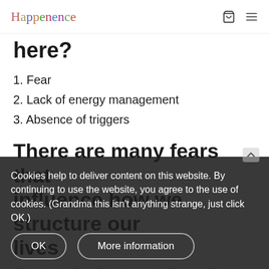Happenence
here?
1. Fear
2. Lack of energy management
3. Absence of triggers
There are many fears that influence how we structure our lives
think about the fear of missing out. I believe we often skip a step. The truth is that when I'm joyous and focused I don't have this feeling. If I've spent the day loving what I'm doing I don't worry that I
Cookies help to deliver content on this website. By continuing to use the website, you agree to the use of cookies. (Grandma this isn't anything strange, just click OK.)